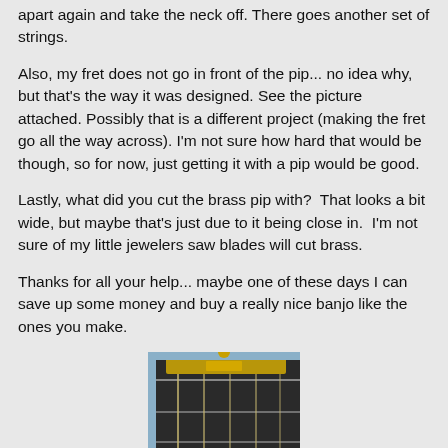apart again and take the neck off. There goes another set of strings.
Also, my fret does not go in front of the pip... no idea why, but that's the way it was designed. See the picture attached. Possibly that is a different project (making the fret go all the way across). I'm not sure how hard that would be though, so for now, just getting it with a pip would be good.
Lastly, what did you cut the brass pip with?  That looks a bit wide, but maybe that's just due to it being close in.  I'm not sure of my little jewelers saw blades will cut brass.
Thanks for all your help... maybe one of these days I can save up some money and buy a really nice banjo like the ones you make.
[Figure (photo): Close-up photo of a banjo headstock/nut area showing brass pip and strings on a dark fretboard]